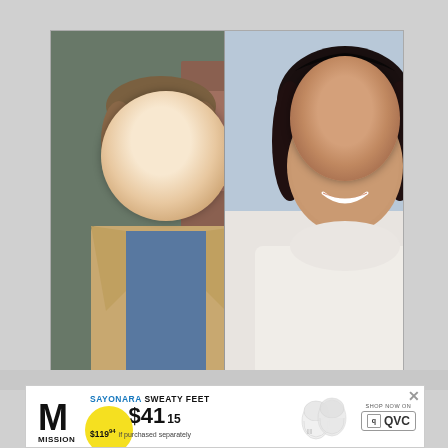[Figure (photo): Side-by-side photos: left shows a man with short brown hair wearing a tan jacket over a blue shirt, right shows a woman with dark hair pulled back, wearing a white coat, smiling]
[Figure (infographic): Advertisement banner for Mission brand socks: 'SAYONARA SWEATY FEET, 6-PACK $41.15, $119.94 if purchased separately', with Mission logo, socks image, and QVC shop now logo]